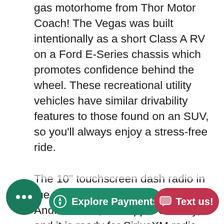gas motorhome from Thor Motor Coach! The Vegas was built intentionally as a short Class A RV on a Ford E-Series chassis which promotes confidence behind the wheel. These recreational utility vehicles have similar drivability features to those found on an SUV, so you'll always enjoy a stress-free ride.
The 10" touchscreen dash radio in the cab comes with Bluetooth, Android Auto, and Apple CarPlay, and it is ready for SiriusXM radio. The reclining/swivel leatherette captain's chairs are super comfortable, and they can even serve as an additional lounge spot for the rest of the living area when you swivel them around. The Vegas kitchen is ready to help you make meals on the go, and you will find the double-door refrigerator, two-burner gas cooktop, and convection microwave to be useful. Yo... e Murphy ... as p... g on which model you choose, and the fully equipped